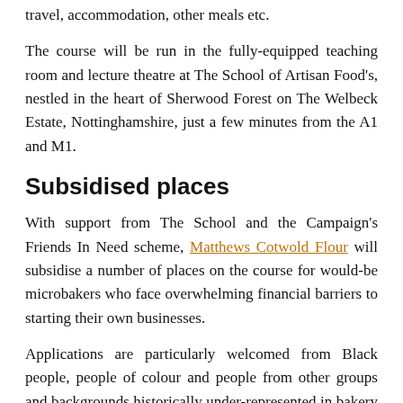travel, accommodation, other meals etc.
The course will be run in the fully-equipped teaching room and lecture theatre at The School of Artisan Food's, nestled in the heart of Sherwood Forest on The Welbeck Estate, Nottinghamshire, just a few minutes from the A1 and M1.
Subsidised places
With support from The School and the Campaign's Friends In Need scheme, Matthews Cotwold Flour will subsidise a number of places on the course for would-be microbakers who face overwhelming financial barriers to starting their own businesses.
Applications are particularly welcomed from Black people, people of colour and people from other groups and backgrounds historically under-represented in bakery business ownership.